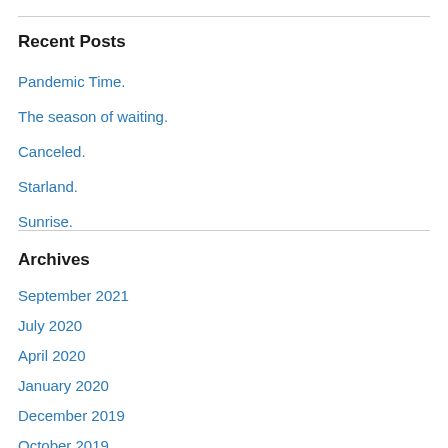Recent Posts
Pandemic Time.
The season of waiting.
Canceled.
Starland.
Sunrise.
Archives
September 2021
July 2020
April 2020
January 2020
December 2019
October 2019
September 2019
August 2019